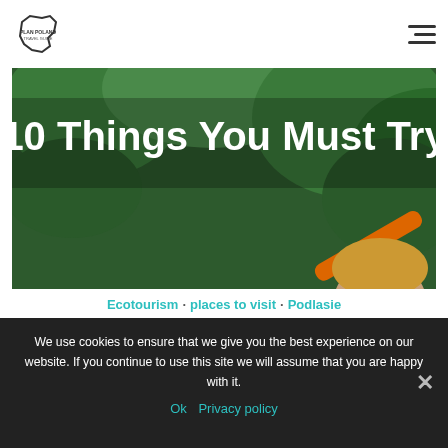[Figure (logo): Plan Poland logo - outline of Poland map shape with text]
[Figure (photo): Photo of people kayaking on a river surrounded by green vegetation. Text overlay reads '10 Things You Must Try' at top and 'North Eastern Poland' in the lower portion.]
Ecotourism   places to visit   Podlasie
We use cookies to ensure that we give you the best experience on our website. If you continue to use this site we will assume that you are happy with it.
Ok   Privacy policy